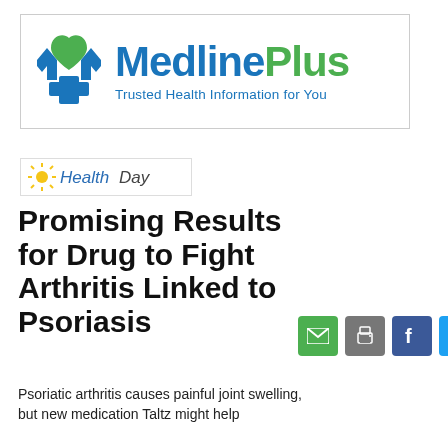[Figure (logo): MedlinePlus logo with blue and green M icon and tagline 'Trusted Health Information for You']
[Figure (logo): HealthDay logo in blue italic text with sun graphic]
Promising Results for Drug to Fight Arthritis Linked to Psoriasis
[Figure (other): Social sharing icons: email (green), print (gray), Facebook (blue), Twitter (light blue), Google+ (red), RSS (orange)]
Psoriatic arthritis causes painful joint swelling, but new medication Taltz might help